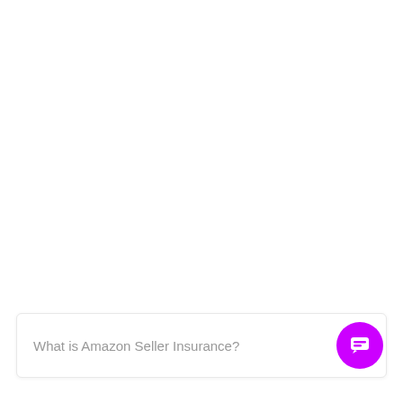What is Amazon Seller Insurance?